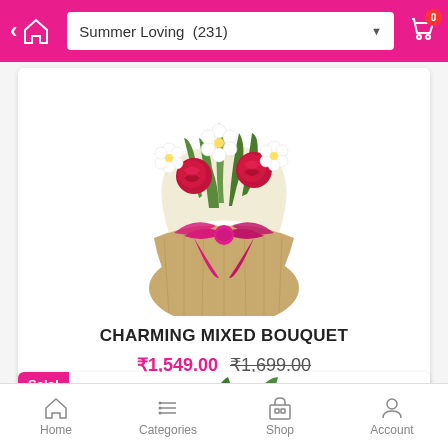Summer Loving (231)
[Figure (photo): A charming mixed bouquet with white flowers, red roses, and green leaves wrapped in burlap with a large pink/magenta bow ribbon]
CHARMING MIXED BOUQUET
₹1,549.00  ₹1,699.00
[Figure (photo): Partial view of a second product showing red roses, Sale! badge visible]
Home  Categories  Shop  Account